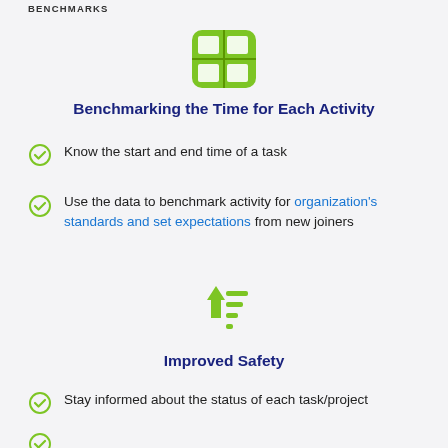BENCHMARKS
[Figure (illustration): Green rounded square icon with a 2x2 grid table symbol inside, in green]
Benchmarking the Time for Each Activity
Know the start and end time of a task
Use the data to benchmark activity for organization's standards and set expectations from new joiners
[Figure (illustration): Green icon of an upward arrow with horizontal lines representing a sorted list, symbolizing improved safety]
Improved Safety
Stay informed about the status of each task/project